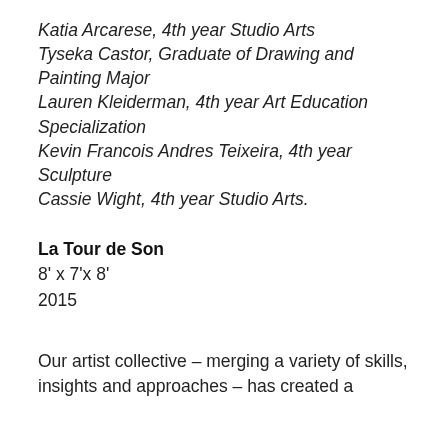Katia Arcarese, 4th year Studio Arts
Tyseka Castor, Graduate of Drawing and Painting Major
Lauren Kleiderman, 4th year Art Education Specialization
Kevin Francois Andres Teixeira, 4th year Sculpture
Cassie Wight, 4th year Studio Arts.
La Tour de Son
8' x 7'x 8'
2015
Our artist collective – merging a variety of skills, insights and approaches – has created a